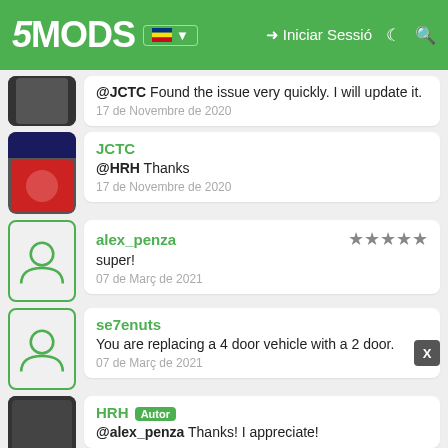5MODS — Iniciar Sessió
@JCTC Found the issue very quickly. I will update it. — 17 de Novembre de 2020
JCTC — @HRH Thanks — 17 de Novembre de 2020
alex_penza — super! — 07 de Març de 2021 — ★★★★★
se7enuts — You are replacing a 4 door vehicle with a 2 door. — 07 de Març de 2021
HRH [Autor] — @alex_penza Thanks! I appreciate!